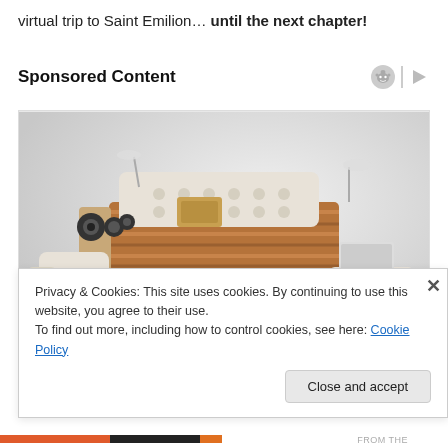virtual trip to Saint Emilion… until the next chapter!
Sponsored Content
[Figure (photo): A luxurious multi-functional bed with white leather upholstery, built-in speakers, reading lights, storage drawers, a reclining chaise, and a laptop/ottoman setup, photographed on a light gray background.]
Privacy & Cookies: This site uses cookies. By continuing to use this website, you agree to their use.
To find out more, including how to control cookies, see here: Cookie Policy
Close and accept